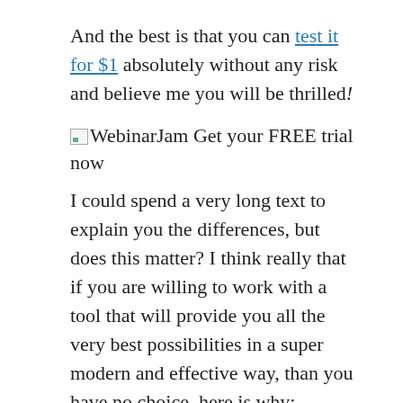And the best is that you can test it for $1 absolutely without any risk and believe me you will be thrilled!
[Figure (illustration): Small broken image icon placeholder followed by text: WebinarJam Get your FREE trial now]
I could spend a very long text to explain you the differences, but does this matter? I think really that if you are willing to work with a tool that will provide you all the very best possibilities in a super modern and effective way, than you have no choice, here is why:
WebinarJam Pros
It’s so easy.